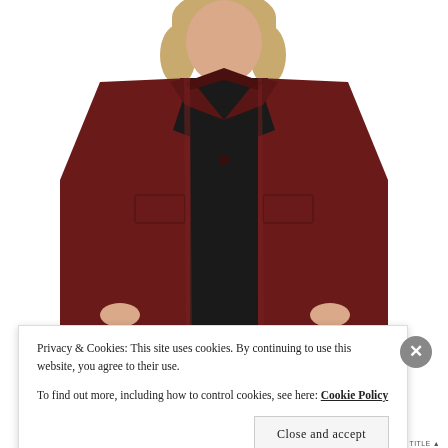[Figure (photo): A woman wearing a dark maroon/burgundy long wool coat over a black outfit, photographed from mid-torso up, with a white background. The coat has notched lapels, a single button, and two welt pockets.]
Privacy & Cookies: This site uses cookies. By continuing to use this website, you agree to their use.
To find out more, including how to control cookies, see here: Cookie Policy
Close and accept